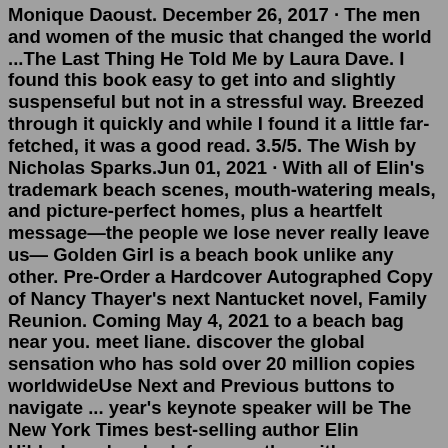Monique Daoust. December 26, 2017 · The men and women of the music that changed the world ...The Last Thing He Told Me by Laura Dave. I found this book easy to get into and slightly suspenseful but not in a stressful way. Breezed through it quickly and while I found it a little far-fetched, it was a good read. 3.5/5. The Wish by Nicholas Sparks.Jun 01, 2021 · With all of Elin's trademark beach scenes, mouth-watering meals, and picture-perfect homes, plus a heartfelt message—the people we lose never really leave us— Golden Girl is a beach book unlike any other. Pre-Order a Hardcover Autographed Copy of Nancy Thayer's next Nantucket novel, Family Reunion. Coming May 4, 2021 to a beach bag near you. meet liane. discover the global sensation who has sold over 20 million copies worldwideUse Next and Previous buttons to navigate ... year's keynote speaker will be The New York Times best-selling author Elin Hilderbrand. ... look for an author with a new book coming out or is ...Books Hello, Sign in. Account & Lists Returns & Orders. Cart All. Best Sellers Prime